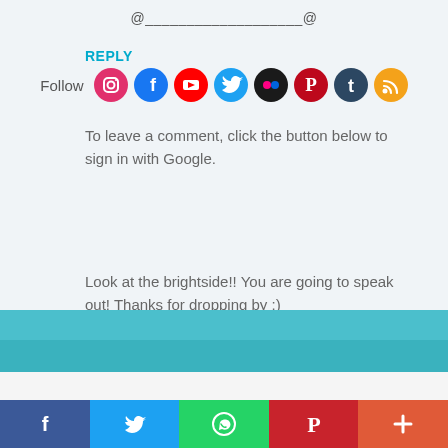@___________________@
REPLY
[Figure (infographic): Follow row with social media icons: Instagram, Facebook, YouTube, Twitter, Flickr, Pinterest, Tumblr, RSS]
To leave a comment, click the button below to sign in with Google.
[Figure (other): SIGN IN WITH GOOGLE blue button]
Look at the brightside!! You are going to speak out! Thanks for dropping by :)
[Figure (other): Teal/cyan decorative bar]
Popular posts from this blog
[Figure (infographic): Bottom share bar with Facebook, Twitter, WhatsApp, Pinterest, and More (+) buttons]